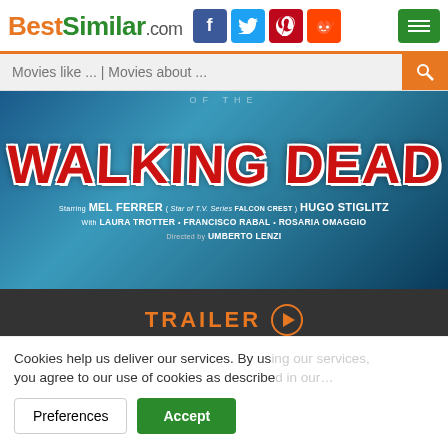BestSimilar.com
[Figure (screenshot): Movie poster for 'Walking Dead' (Umberto Lenzi film) featuring large red text on blue background, starring Mel Ferrer (Falcon Crest), Hugo Stiglitz, Laura Trotter, Francisco Rabal, Rosaria Omaggio]
TRAILER
Genre: Horror, Sci-Fi, Thriller
Country: Italy, Spain, Mexico
Duration: 88 min.
Story: An airplane exposed to ra... drinking zombies emerge armed...
Cookies help us deliver our services. By us... you agree to our use of cookies as describe...
Preferences | Accept